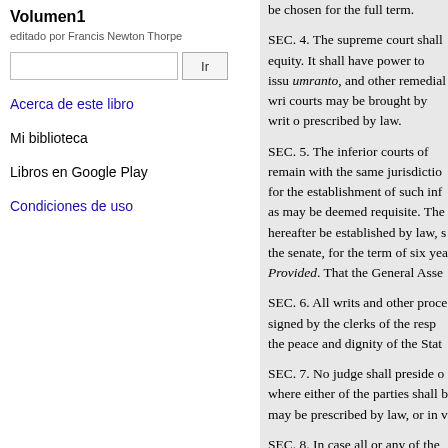Volumen1
editado por Francis Newton Thorpe
Ir
Acerca de este libro
Mi biblioteca
Libros en Google Play
Condiciones de uso
be chosen for the full term.
SEC. 4. The supreme court shall equity. It shall have power to issue umranto, and other remedial writs courts may be brought by writ of prescribed by law.
SEC. 5. The inferior courts of remain with the same jurisdiction for the establishment of such inferior as may be deemed requisite. The hereafter be established by law, s the senate, for the term of six years Provided. That the General Assembly
SEC. 6. All writs and other process signed by the clerks of the respective the peace and dignity of the State
SEC. 7. No judge shall preside o where either of the parties shall b may be prescribed by law, or in v
SEC. 8. In case all or any of the cause or causes, the court or